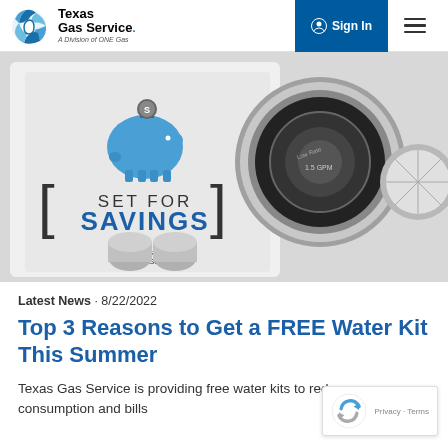[Figure (logo): Texas Gas Service logo with circular globe icon, company name and 'A Division of ONE Gas' tagline]
[Figure (photo): Product photo showing 'Set for Savings' branded box with Texas Gas Service logo, chrome faucet aerators, and water flow control device components on white background]
Latest News · 8/22/2022
Top 3 Reasons to Get a FREE Water Kit This Summer
Texas Gas Service is providing free water kits to reduce water consumption and bills